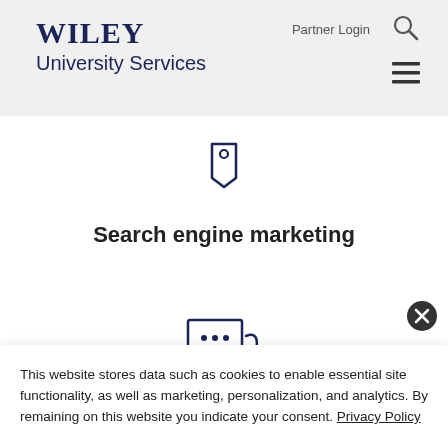WILEY University Services
Partner Login
[Figure (logo): Wiley University Services logo with WILEY in large serif bold and University Services in sans-serif below]
[Figure (illustration): Tag/label icon in dark navy blue outline]
Search engine marketing
[Figure (illustration): Chat bubble icon with three dots in dark navy blue outline]
This website stores data such as cookies to enable essential site functionality, as well as marketing, personalization, and analytics. By remaining on this website you indicate your consent. Privacy Policy